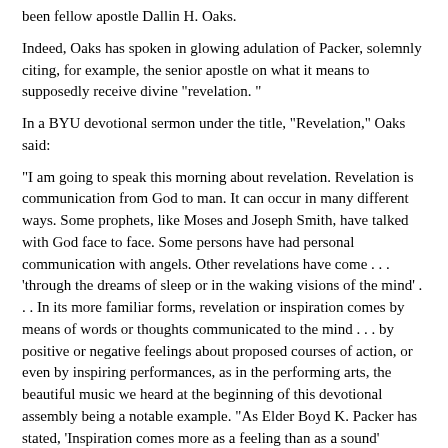been fellow apostle Dallin H. Oaks.
Indeed, Oaks has spoken in glowing adulation of Packer, solemnly citing, for example, the senior apostle on what it means to supposedly receive divine "revelation. "
In a BYU devotional sermon under the title, "Revelation," Oaks said:
"I am going to speak this morning about revelation. Revelation is communication from God to man. It can occur in many different ways. Some prophets, like Moses and Joseph Smith, have talked with God face to face. Some persons have had personal communication with angels. Other revelations have come . . . 'through the dreams of sleep or in the waking visions of the mind' . . . In its more familiar forms, revelation or inspiration comes by means of words or thoughts communicated to the mind . . . by positive or negative feelings about proposed courses of action, or even by inspiring performances, as in the performing arts, the beautiful music we heard at the beginning of this devotional assembly being a notable example. "As Elder Boyd K. Packer has stated, 'Inspiration comes more as a feeling than as a sound' ("Prayers and Answers," Ensign, November 1979, p. 19)."
Moreover, according to Mormon sources who have been present at public events to witness Oaks in gratisting and insigners here